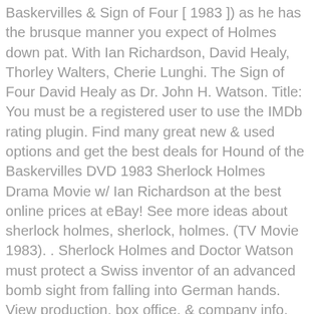Baskervilles & Sign of Four [ 1983 ]) as he has the brusque manner you expect of Holmes down pat. With Ian Richardson, David Healy, Thorley Walters, Cherie Lunghi. The Sign of Four David Healy as Dr. John H. Watson. Title: You must be a registered user to use the IMDb rating plugin. Find many great new & used options and get the best deals for Hound of the Baskervilles DVD 1983 Sherlock Holmes Drama Movie w/ Ian Richardson at the best online prices at eBay! See more ideas about sherlock holmes, sherlock, holmes. (TV Movie 1983). . Sherlock Holmes and Doctor Watson must protect a Swiss inventor of an advanced bomb sight from falling into German hands. View production, box office, & company info, Reviews: "The Hound Of The Baskervilles" (1983) And "The Sign Of Four" (1983) Starring Ian Richardson; Blu-ray Releases From Second Sight, Sherlock: Amanda Abbington on 'The Abominable Bride' & Mary Watson, Sherlock: Everything you need to know from the Comic-Con panel in our live blog, Friday Face-Off: Jude Law vs. Martin Freeman. (TV Movie 1983).